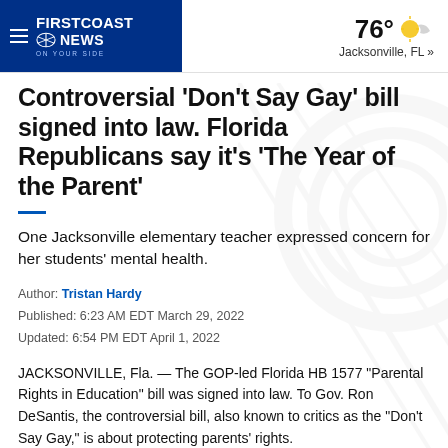FIRST COAST NEWS | 76° Jacksonville, FL »
Controversial 'Don't Say Gay' bill signed into law. Florida Republicans say it's 'The Year of the Parent'
One Jacksonville elementary teacher expressed concern for her students' mental health.
Author: Tristan Hardy
Published: 6:23 AM EDT March 29, 2022
Updated: 6:54 PM EDT April 1, 2022
JACKSONVILLE, Fla. — The GOP-led Florida HB 1577 "Parental Rights in Education" bill was signed into law. To Gov. Ron DeSantis, the controversial bill, also known to critics as the "Don't Say Gay," is about protecting parents' rights.
"Parents have a right to be involved" DeSantis said. "He...